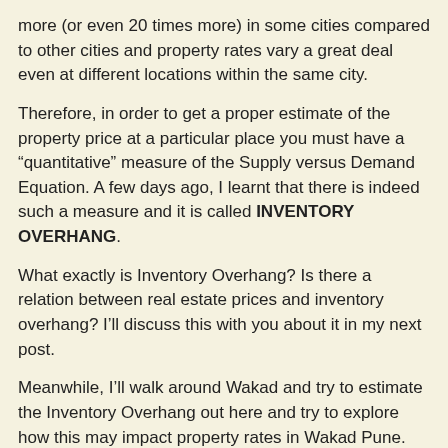more (or even 20 times more) in some cities compared to other cities and property rates vary a great deal even at different locations within the same city.
Therefore, in order to get a proper estimate of the property price at a particular place you must have a “quantitative” measure of the Supply versus Demand Equation. A few days ago, I learnt that there is indeed such a measure and it is called INVENTORY OVERHANG.
What exactly is Inventory Overhang? Is there a relation between real estate prices and inventory overhang? I’ll discuss this with you about it in my next post.
Meanwhile, I’ll walk around Wakad and try to estimate the Inventory Overhang out here and try to explore how this may impact property rates in Wakad Pune.
Till then, happy house-hunting and have a good day.
And, by the way, if you know why property prices are so high (or low) in your city, do comment and tell us.